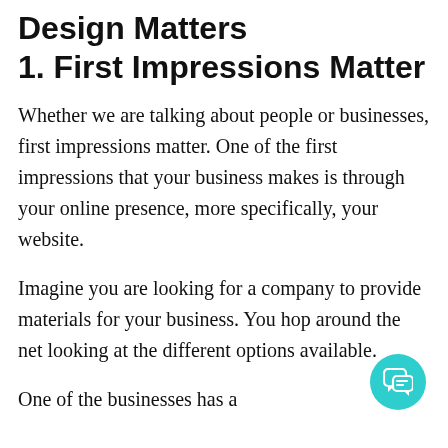Design Matters
1. First Impressions Matter
Whether we are talking about people or businesses, first impressions matter. One of the first impressions that your business makes is through your online presence, more specifically, your website.
Imagine you are looking for a company to provide materials for your business. You hop around the net looking at the different options available.
One of the businesses has a